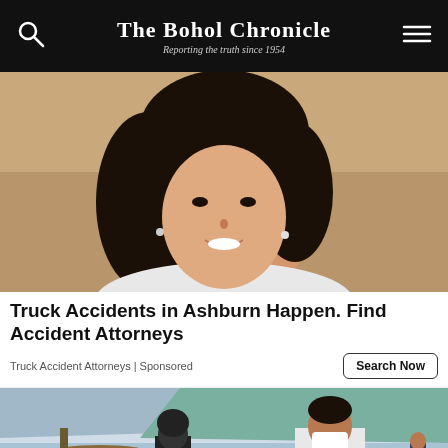The Bohol Chronicle — Reporting the truth since 1954
[Figure (photo): Close-up portrait of a smiling young woman with short dark hair, wearing a white top, pearl earring, with a warm indoor background.]
Truck Accidents in Ashburn Happen. Find Accident Attorneys
Truck Accident Attorneys | Sponsored
Search Now
[Figure (photo): Outdoor beach market scene: a man in a white t-shirt and face mask handles seafood at a stall, with a tarp canopy, boats, and the sea in the background.]